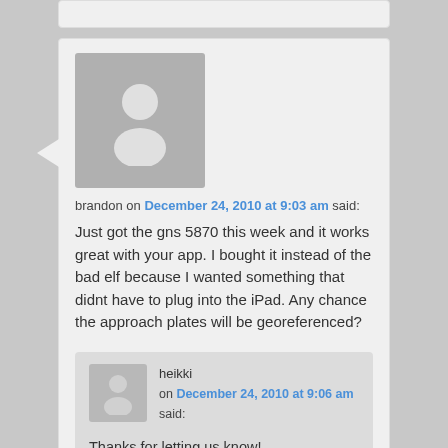brandon on December 24, 2010 at 9:03 am said:
Just got the gns 5870 this week and it works great with your app. I bought it instead of the bad elf because I wanted something that didnt have to plug into the iPad. Any chance the approach plates will be georeferenced?
heikki on December 24, 2010 at 9:06 am said:
Thanks for letting us know!
Geo-referenced charts are not possible